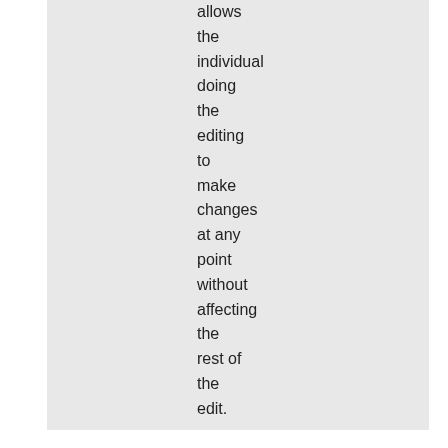allows the individual doing the editing to make changes at any point without affecting the rest of the edit.
[Figure (other): Social sharing bar with Twitter, Facebook, Delicious, Digg, StumbleUpon, Reddit icons, an 'I like it!' button, and a '1 C!' comments link]
(idea) by mr100percent Fri Nov 18 2005 at 4:39:36